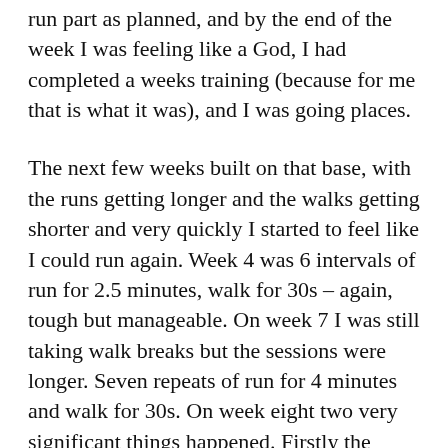run part as planned, and by the end of the week I was feeling like a God, I had completed a weeks training (because for me that is what it was), and I was going places.
The next few weeks built on that base, with the runs getting longer and the walks getting shorter and very quickly I started to feel like I could run again. Week 4 was 6 intervals of run for 2.5 minutes, walk for 30s – again, tough but manageable. On week 7 I was still taking walk breaks but the sessions were longer. Seven repeats of run for 4 minutes and walk for 30s. On week eight two very significant things happened. Firstly the sessions were without walk breaks. The three sessions during the week